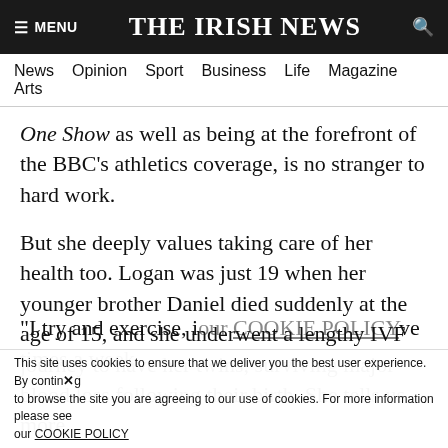≡ MENU  THE IRISH NEWS  🔍
News  Opinion  Sport  Business  Life  Magazine  Arts
One Show as well as being at the forefront of the BBC's athletics coverage, is no stranger to hard work.
But she deeply values taking care of her health too. Logan was just 19 when her younger brother Daniel died suddenly at the age of 15, and she underwent a lengthy IVF journey to have her twins, surviving major blood loss following their birth. She tells us more...
How else do you like to look after your own health and wellbeing?
"I try and exercise, if our COOKIE POLICY five times a week.
This site uses cookies to ensure that we deliver you the best user experience. By continuing to browse the site you are agreeing to our use of cookies. For more information please see our COOKIE POLICY